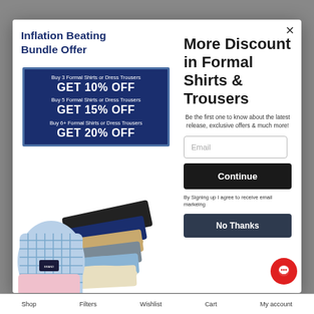Inflation Beating Bundle Offer
Buy 3 Formal Shirts or Dress Trousers GET 10% OFF Buy 5 Formal Shirts or Dress Trousers GET 15% OFF Buy 6+ Formal Shirts or Dress Trousers GET 20% OFF
[Figure (photo): Folded formal shirts and dress trousers in various colors stacked together]
More Discount in Formal Shirts & Trousers
Be the first one to know about the latest release, exclusive offers & much more!
Email
Continue
By Signing up I agree to receive email markeing
No Thanks
Shop   Filters   Wishlist   Cart   My account